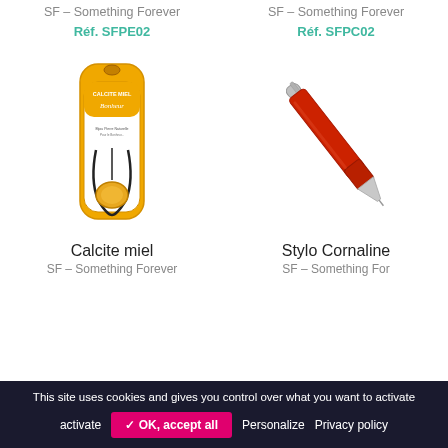SF – Something Forever
Réf. SFPE02
SF – Something Forever
Réf. SFPC02
[Figure (photo): Calcite miel necklace product in golden packaging with text CALCITE MIEL Bonheur]
[Figure (photo): Stylo Cornaline – red/orange pen with silver metallic tip and clip]
Calcite miel
SF – Something Forever
Sylo Cornaline
SF – Something For
This site uses cookies and gives you control over what you want to activate  ✓ OK, accept all  Personalize  Privacy policy